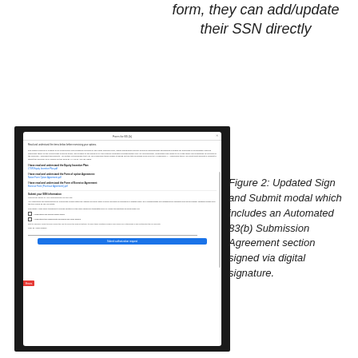form, they can add/update their SSN directly
[Figure (screenshot): Screenshot of an updated Sign and Submit modal dialog showing form content including sections for reading and understanding terms, links to documents, an SSN submission section with checkboxes, a signature field, and a blue Submit button.]
Figure 2: Updated Sign and Submit modal which includes an Automated 83(b) Submission Agreement section signed via digital signature.